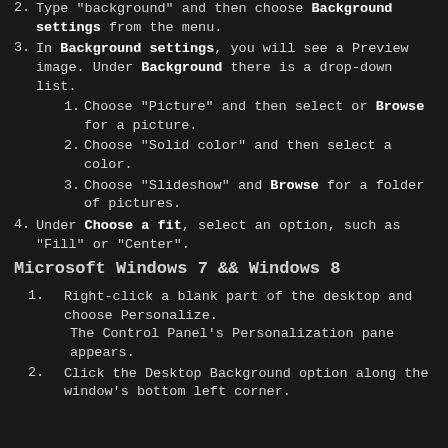2. Type "background" and then choose Background settings from the menu.
3. In Background settings, you will see a Preview image. Under Background there is a drop-down list.
1. Choose "Picture" and then select or Browse for a picture.
2. Choose "Solid color" and then select a color.
3. Choose "Slideshow" and Browse for a folder of pictures.
4. Under Choose a fit, select an option, such as "Fill" or "Center".
Microsoft Windows 7 && Windows 8
1. Right-click a blank part of the desktop and choose Personalize.
The Control Panel's Personalization pane appears.
2. Click the Desktop Background option along the window's bottom left corner.